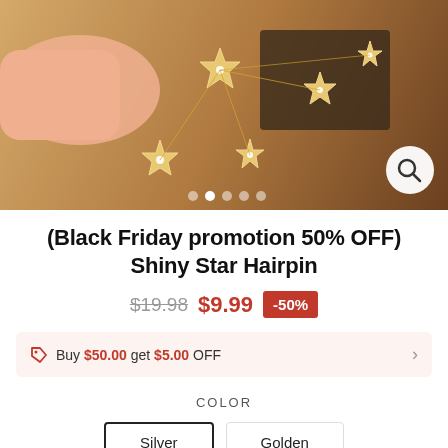[Figure (photo): Product photo: a hand holding shiny gold star-shaped hairpins with crystal decorations, photographed on a wooden surface background.]
(Black Friday promotion 50% OFF) Shiny Star Hairpin
$19.98  $9.99  -50%
Buy $50.00 get $5.00 OFF
COLOR
Silver  Golden